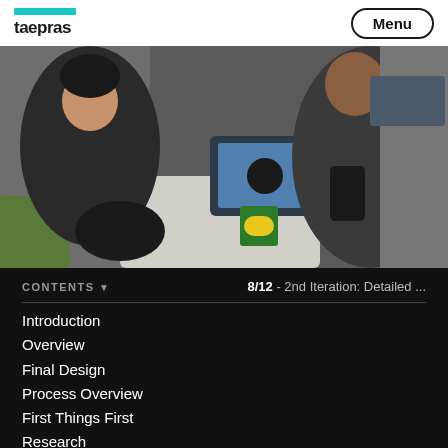taepras  Menu
[Figure (photo): Two people in a user research session — a woman on the left smiling, a man on the right holding a device, with a tablet showing an app on the table between them, and a tea box nearby.]
CONTENTS  8/12 - 2nd Iteration: Detailed ...
Introduction
Overview
Final Design
Process Overview
First Things First
Research
1st Iteration: Concept Exploration